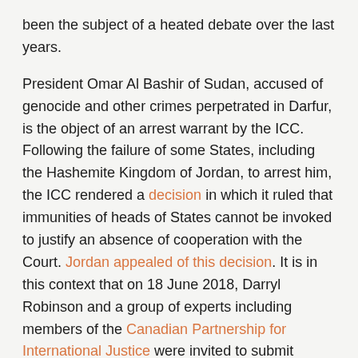been the subject of a heated debate over the last years.
President Omar Al Bashir of Sudan, accused of genocide and other crimes perpetrated in Darfur, is the object of an arrest warrant by the ICC. Following the failure of some States, including the Hashemite Kingdom of Jordan, to arrest him, the ICC rendered a decision in which it ruled that immunities of heads of States cannot be invoked to justify an absence of cooperation with the Court. Jordan appealed of this decision. It is in this context that on 18 June 2018, Darryl Robinson and a group of experts including members of the Canadian Partnership for International Justice were invited to submit Amici Curiae observations to the ICC concerning the appeal filed by Jordan. The Amici, namely